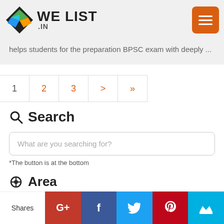WE LIST .IN
helps students for the preparation BPSC exam with deeply ...
1  2  3  >  »
Search
What are you searching for?
*The button is at the bottom
Area
State
State
Shares